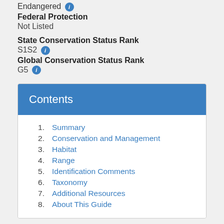Endangered
Federal Protection
Not Listed
State Conservation Status Rank
S1S2
Global Conservation Status Rank
G5
Contents
1. Summary
2. Conservation and Management
3. Habitat
4. Range
5. Identification Comments
6. Taxonomy
7. Additional Resources
8. About This Guide